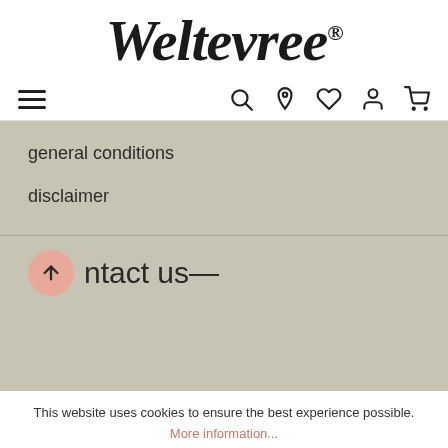[Figure (logo): Weltevree logo in large italic serif font with registered trademark symbol]
[Figure (screenshot): Navigation bar with hamburger menu on left and icons (search, location pin, heart, person, cart) on right]
general conditions
disclaimer
contact us—
This website uses cookies to ensure the best experience possible.
More information...
Deny
Configure
Accept all coo...